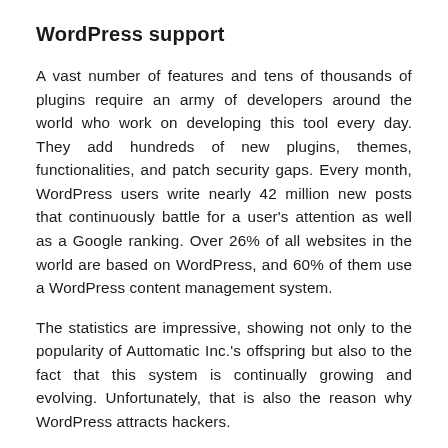WordPress support
A vast number of features and tens of thousands of plugins require an army of developers around the world who work on developing this tool every day. They add hundreds of new plugins, themes, functionalities, and patch security gaps. Every month, WordPress users write nearly 42 million new posts that continuously battle for a user's attention as well as a Google ranking. Over 26% of all websites in the world are based on WordPress, and 60% of them use a WordPress content management system.
The statistics are impressive, showing not only to the popularity of Auttomatic Inc.'s offspring but also to the fact that this system is continually growing and evolving. Unfortunately, that is also the reason why WordPress attracts hackers.
Do not panic. Constant optimization and WordPress technical support ensure the security of your website so that your clients' data will never fall into the wrong